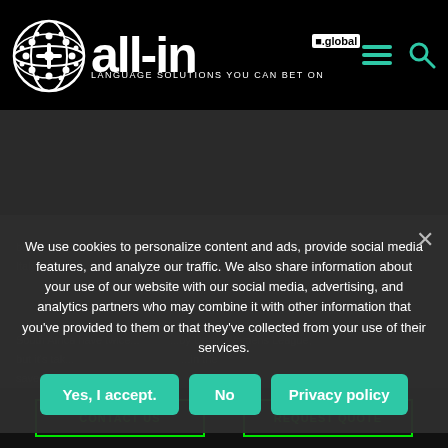[Figure (logo): all-in.global logo with globe icon and tagline 'LANGUAGE SOLUTIONS YOU CAN BET ON']
We use cookies to personalize content and ads, provide social media features, and analyze our traffic. We also share information about your use of our website with our social media, advertising, and analytics partners who may combine it with other information that you've provided to them or that they've collected from your use of their services.
Yes, I accept.
No
Privacy policy
CONTACT US
REQUEST QUOTE